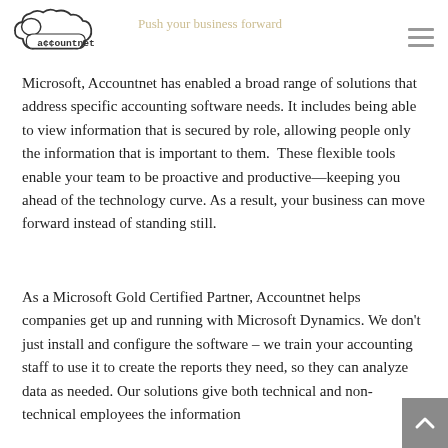accountnet logo and navigation
Push your business forward
Microsoft, Accountnet has enabled a broad range of solutions that address specific accounting software needs. It includes being able to view information that is secured by role, allowing people only the information that is important to them. These flexible tools enable your team to be proactive and productive—keeping you ahead of the technology curve. As a result, your business can move forward instead of standing still.
As a Microsoft Gold Certified Partner, Accountnet helps companies get up and running with Microsoft Dynamics. We don't just install and configure the software – we train your accounting staff to use it to create the reports they need, so they can analyze data as needed. Our solutions give both technical and non-technical employees the information